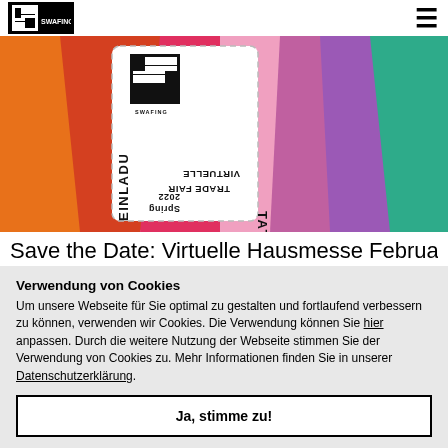Swafing logo and navigation menu
[Figure (photo): Hero banner image showing colorful diagonal fabric swatches in orange, red, pink, purple, teal colors with a Swafing invitation ticket card (VIRTUELLE TRADE FAIR EINLADUNG Spring 2022) in the center]
Save the Date: Virtuelle Hausmesse Februar
Verwendung von Cookies
Um unsere Webseite für Sie optimal zu gestalten und fortlaufend verbessern zu können, verwenden wir Cookies. Die Verwendung können Sie hier anpassen. Durch die weitere Nutzung der Webseite stimmen Sie der Verwendung von Cookies zu. Mehr Informationen finden Sie in unserer Datenschutzerklärung.
Ja, stimme zu!